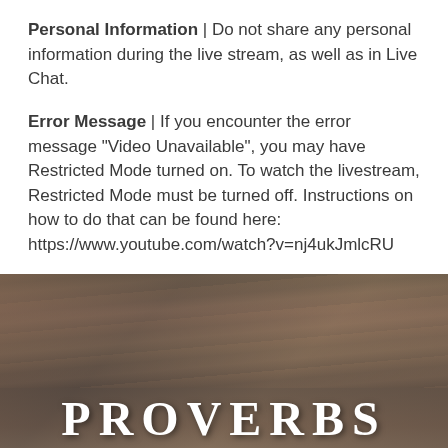Personal Information | Do not share any personal information during the live stream, as well as in Live Chat.
Error Message | If you encounter the error message "Video Unavailable", you may have Restricted Mode turned on. To watch the livestream, Restricted Mode must be turned off. Instructions on how to do that can be found here: https://www.youtube.com/watch?v=nj4ukJmlcRU
[Figure (photo): A weathered, textured image with the word PROVERBS in large white arched letters at the bottom, suggesting a book cover or church banner with a rustic brown/earth-tone background.]